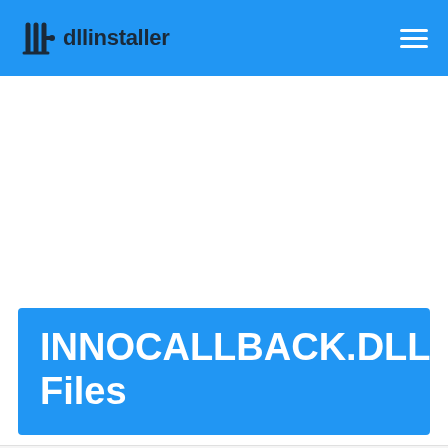dllinstaller
INNOCALLBACK.DLL Files